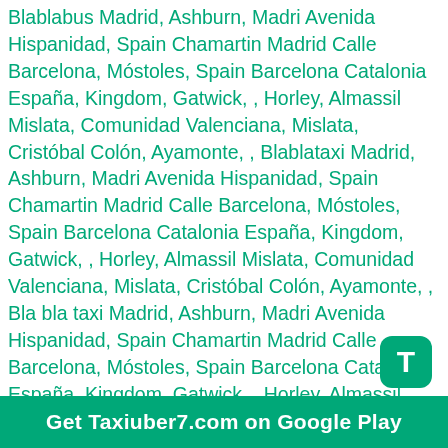Blablabus Madrid, Ashburn, Madri Avenida Hispanidad, Spain Chamartin Madrid Calle Barcelona, Móstoles, Spain Barcelona Catalonia España, Kingdom, Gatwick, , Horley, Almassil Mislata, Comunidad Valenciana, Mislata, Cristóbal Colón, Ayamonte, , Blablataxi Madrid, Ashburn, Madri Avenida Hispanidad, Spain Chamartin Madrid Calle Barcelona, Móstoles, Spain Barcelona Catalonia España, Kingdom, Gatwick, , Horley, Almassil Mislata, Comunidad Valenciana, Mislata, Cristóbal Colón, Ayamonte, , Bla bla taxi Madrid, Ashburn, Madri Avenida Hispanidad, Spain Chamartin Madrid Calle Barcelona, Móstoles, Spain Barcelona Catalonia España, Kingdom, Gatwick, , Horley, Almassil Mislata, Comunidad Valenciana, Mislata, Cristóbal Colón, Ayamonte, , Blahblahcar Madrid, Ashburn, Madri Avenida Hispanidad, Spain Chamartin Madrid Calle Barcelona, Móstoles, Spain Barcelona Catalonia España, Kingdom, Gatwick, , Horley, Almassil Mislata, Comunidad Valenciana, Mislata, Cristóbal Colón, Ayamonte, , Blah blah car Madrid, Ashburn, Madri Avenida Hispanidad, Spain Chamartin Madrid Calle Barcelona, Móstoles, Spain Barcelona Catalonia España, Kingdom, Gatwick, , Horley, Almassil Mislata, Comunidad Valenciana, Mislata, Cristóbal Colón, Ayamonte, Blablacar bus Madrid, Ashburn, Madri Avenida Hispanidad, Spain Chamartin Madrid Calle Barcelona, Móstoles, Spain Barcelona Catalonia España, Kingdom, Gatwick, , Horley, Almassil Mislata, Comunidad Valenciana, Mislata, Cristóbal Colón, Ayamonte, , Blablacar Madrid, Ashburn, Madri Avenida Hispanidad, Spain Chamartin Madrid Calle Barcelona, Móstoles, Spain Barcel
[Figure (other): Green rounded square badge with white letter T]
Get Taxiuber7.com on Google Play